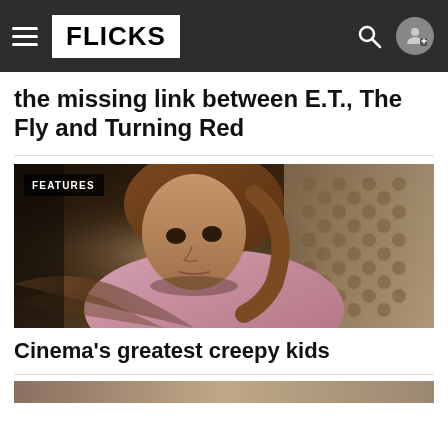FLICKS
the missing link between E.T., The Fly and Turning Red
[Figure (photo): A young girl with long brown hair lying against a crocheted blanket, looking downward with a serious expression. A hand reaches toward the camera from the foreground. Film still from a horror movie.]
FEATURES
Cinema's greatest creepy kids